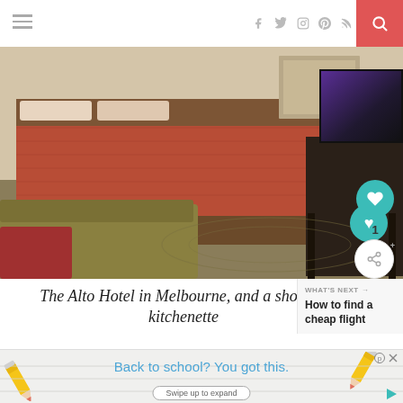Navigation header with hamburger menu, social icons (f, twitter, instagram, pinterest, rss), and search button
[Figure (photo): Hotel room interior showing a bed with an orange/red bedspread, olive green sofa/chair in foreground, brown carpet, dark wood desk with flat-screen TV on the right, and framed artwork on the cream-colored walls. The Alto Hotel in Melbourne.]
The Alto Hotel in Melbourne, and a shot of i kitchenette
WHAT'S NEXT → How to find a cheap flight
[Figure (infographic): Advertisement banner: Back to school? You got this. with pencil graphics on left and right, and a Swipe up to expand button at the bottom.]